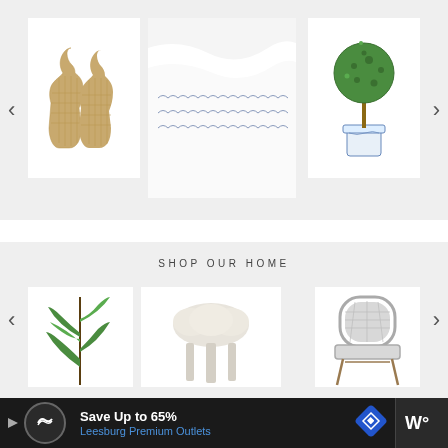[Figure (screenshot): E-commerce product carousel showing woven gold vases, white scalloped bedding, and a green topiary in blue and white pot, on light gray background with left/right navigation arrows]
SHOP OUR HOME
[Figure (screenshot): Second e-commerce product carousel showing a fiddle leaf fig plant, a white mushroom-shaped stool, and a gray rattan bistro chair, on light gray background with navigation arrows]
[Figure (advertisement): Advertisement bar: Save Up to 65% Leesburg Premium Outlets]